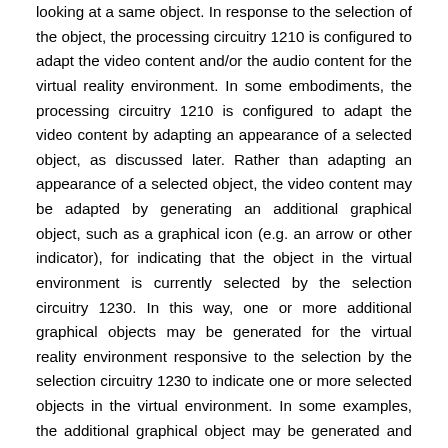looking at a same object. In response to the selection of the object, the processing circuitry 1210 is configured to adapt the video content and/or the audio content for the virtual reality environment. In some embodiments, the processing circuitry 1210 is configured to adapt the video content by adapting an appearance of a selected object, as discussed later. Rather than adapting an appearance of a selected object, the video content may be adapted by generating an additional graphical object, such as a graphical icon (e.g. an arrow or other indicator), for indicating that the object in the virtual environment is currently selected by the selection circuitry 1230. In this way, one or more additional graphical objects may be generated for the virtual reality environment responsive to the selection by the selection circuitry 1230 to indicate one or more selected objects in the virtual environment. In some examples, the additional graphical object may be generated and positioned within an image in a manner that guides the user to the selected object by indicating to the user that the selected object is located to the